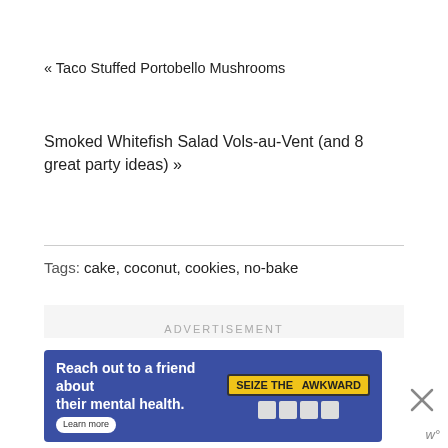« Taco Stuffed Portobello Mushrooms
Smoked Whitefish Salad Vols-au-Vent (and 8 great party ideas) »
Tags: cake, coconut, cookies, no-bake
[Figure (other): Advertisement placeholder box with light gray background and 'ADVERTISEMENT' label]
[Figure (other): Blue banner advertisement: 'Reach out to a friend about their mental health. Learn more' with 'SEIZE THE AWKWARD' yellow badge and icons. Close button (X) and 'w°' logo on the right.]